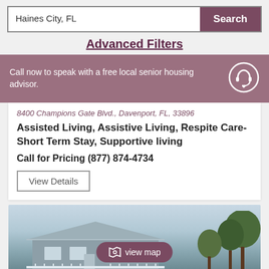Haines City, FL | Search
Advanced Filters
Call now to speak with a free local senior housing advisor.
8400 Champions Gate Blvd., Davenport, FL, 33896
Assisted Living, Assistive Living, Respite Care-Short Term Stay, Supportive living
Call for Pricing (877) 874-4734
View Details
[Figure (photo): Exterior photo of a single-story building with trees in background; view map pill button overlay]